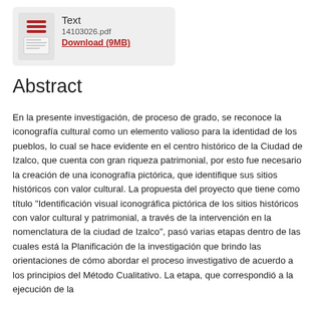[Figure (other): File icon with red horizontal lines and a document thumbnail, indicating a text PDF file]
Text
14103026.pdf
Download (9MB)
Abstract
En la presente investigación, de proceso de grado, se reconoce la iconografía cultural como un elemento valioso para la identidad de los pueblos, lo cual se hace evidente en el centro histórico de la Ciudad de Izalco, que cuenta con gran riqueza patrimonial, por esto fue necesario la creación de una iconografía pictórica, que identifique sus sitios históricos con valor cultural. La propuesta del proyecto que tiene como título "Identificación visual iconográfica pictórica de los sitios históricos con valor cultural y patrimonial, a través de la intervención en la nomenclatura de la ciudad de Izalco", pasó varias etapas dentro de las cuales está la Planificación de la investigación que brindo las orientaciones de cómo abordar el proceso investigativo de acuerdo a los principios del Método Cualitativo. La etapa, que correspondió a la ejecución de la